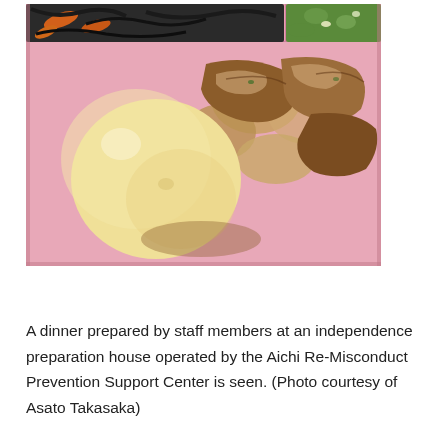[Figure (photo): A Japanese dinner served on a pink plastic tray. The meal includes a boiled egg, braised pork belly with onions and other ingredients, hijiki seaweed salad with carrots, and a green vegetable side dish visible in the upper right corner.]
A dinner prepared by staff members at an independence preparation house operated by the Aichi Re-Misconduct Prevention Support Center is seen. (Photo courtesy of Asato Takasaka)